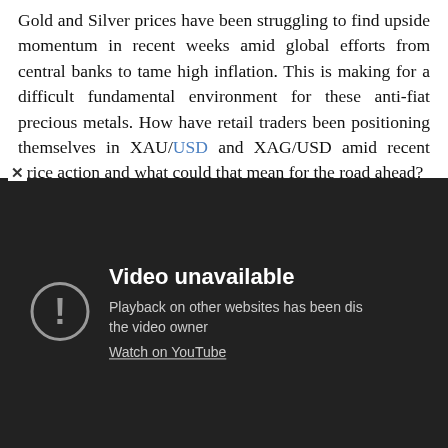Gold and Silver prices have been struggling to find upside momentum in recent weeks amid global efforts from central banks to tame high inflation. This is making for a difficult fundamental environment for these anti-fiat precious metals. How have retail traders been positioning themselves in XAU/USD and XAG/USD amid recent price action and what could that mean for the road ahead?
[Figure (screenshot): Embedded video player showing 'Video unavailable' error. Dark background with a circular exclamation icon. Text reads: 'Video unavailable', 'Playback on other websites has been disabled by the video owner', 'Watch on YouTube'. A close (x) button appears at the top left of the overlay.]